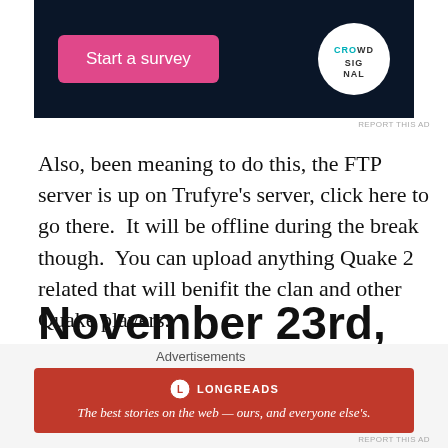[Figure (screenshot): Advertisement banner with dark navy background showing a pink 'Start a survey' button and the Crowdsignal logo (white circle with text).]
Also, been meaning to do this, the FTP server is up on Trufyre's server, click here to go there.  It will be offline during the break though.  You can upload anything Quake 2 related that will benifit the clan and other Quake players.
November 23rd, 1998
Dang it has been ahile since i updated.Alot has
[Figure (screenshot): Longreads advertisement banner with red background. Text reads: 'The best stories on the web — ours, and everyone else's.']